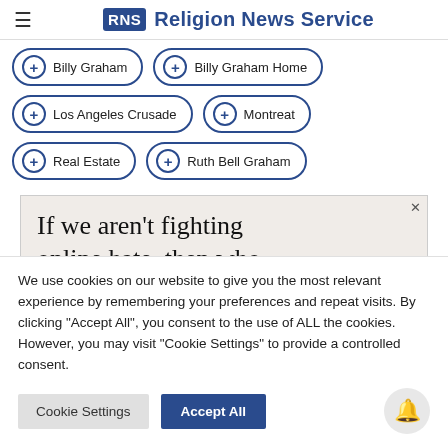RNS Religion News Service
+ Billy Graham
+ Billy Graham Home
+ Los Angeles Crusade
+ Montreat
+ Real Estate
+ Ruth Bell Graham
[Figure (screenshot): Advertisement banner with text: If we aren't fighting online hate, then who]
We use cookies on our website to give you the most relevant experience by remembering your preferences and repeat visits. By clicking "Accept All", you consent to the use of ALL the cookies. However, you may visit "Cookie Settings" to provide a controlled consent.
Cookie Settings
Accept All